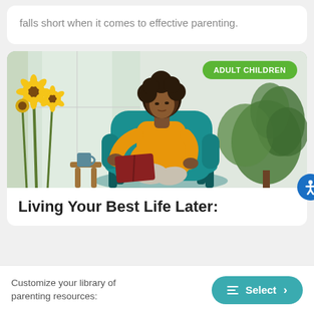falls short when it comes to effective parenting.
[Figure (photo): A woman with natural hair wearing a yellow sweater sits reading a book in a teal armchair; sunflowers and a plant are visible in the background; a green badge reads ADULT CHILDREN]
Living Your Best Life Later:
Customize your library of parenting resources:
Select